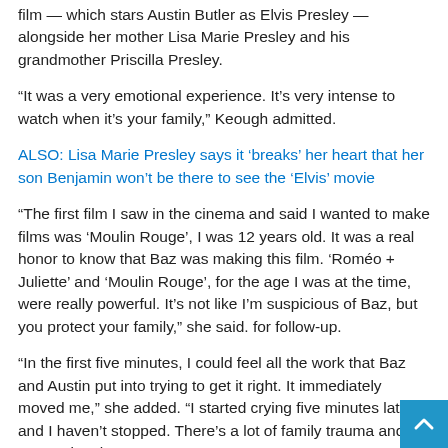film — which stars Austin Butler as Elvis Presley — alongside her mother Lisa Marie Presley and his grandmother Priscilla Presley.
“It was a very emotional experience. It’s very intense to watch when it’s your family,” Keough admitted.
ALSO: Lisa Marie Presley says it ‘breaks’ her heart that her son Benjamin won’t be there to see the ‘Elvis’ movie
“The first film I saw in the cinema and said I wanted to make films was ‘Moulin Rouge’, I was 12 years old. It was a real honor to know that Baz was making this film. ‘Roméo + Juliette’ and ‘Moulin Rouge’, for the age I was at the time, were really powerful. It’s not like I’m suspicious of Baz, but you protect your family,” she said. for follow-up.
“In the first five minutes, I could feel all the work that Baz and Austin put into trying to get it right. It immediately moved me,” she added. “I started crying five minutes later and I haven’t stopped. There’s a lot of family trauma and generational trauma